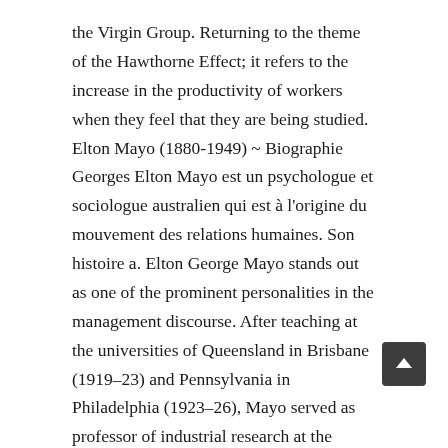the Virgin Group. Returning to the theme of the Hawthorne Effect; it refers to the increase in the productivity of workers when they feel that they are being studied. Elton Mayo (1880-1949) ~ Biographie Georges Elton Mayo est un psychologue et sociologue australien qui est à l'origine du mouvement des relations humaines. Son histoire a. Elton George Mayo stands out as one of the prominent personalities in the management discourse. After teaching at the universities of Queensland in Brisbane (1919–23) and Pennsylvania in Philadelphia (1923–26), Mayo served as professor of industrial research at the Harvard Graduate School of Business Administration (1926–47). Elton Mayo was born in Australia in 1880. George Elton Mayo was ... Therefore, it is considered one of the most outstanding theorists of the psychology of development (of learning) and founder of historical-cultural psychology. Download for offline reading, highlight, bookmark or take